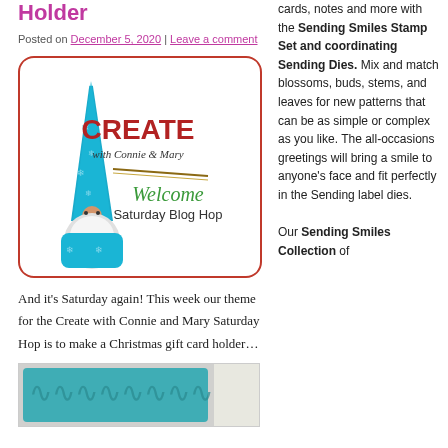Holder
Posted on December 5, 2020 | Leave a comment
[Figure (illustration): CREATE with Connie & Mary Welcome Saturday Blog Hop logo with a gnome in a blue hat and suit with a long white beard]
And it's Saturday again! This week our theme for the Create with Connie and Mary Saturday Hop is to make a Christmas gift card holder…
[Figure (photo): Photo of a Christmas gift card holder with teal/blue decorative pattern]
cards, notes and more with the Sending Smiles Stamp Set and coordinating Sending Dies. Mix and match blossoms, buds, stems, and leaves for new patterns that can be as simple or complex as you like. The all-occasions greetings will bring a smile to anyone's face and fit perfectly in the Sending label dies. Our Sending Smiles Collection of